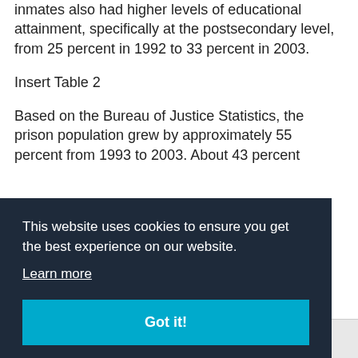inmates also had higher levels of educational attainment, specifically at the postsecondary level, from 25 percent in 1992 to 33 percent in 2003.
Insert Table 2
Based on the Bureau of Justice Statistics, the prison population grew by approximately 55 percent from 1993 to 2003. About 43 percent
This website uses cookies to ensure you get the best experience on our website.
Learn more
Got it!
[Figure (logo): Diverse Health and Newsletter logos at the bottom of the page]